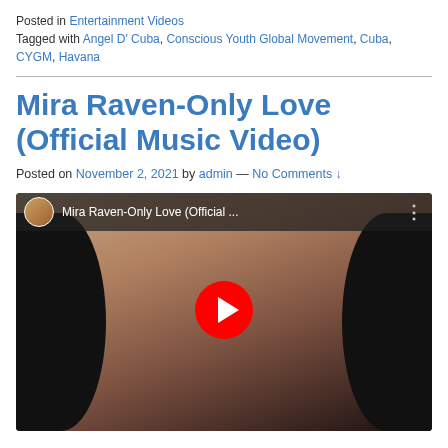Posted in Entertainment Videos
Tagged with Angel D' Cuba, Conscious Youth Global Movement, Cuba, CYGM, Havana
Mira Raven-Only Love (Official Music Video)
Posted on November 2, 2021 by admin — No Comments ↓
[Figure (screenshot): YouTube video thumbnail for 'Mira Raven-Only Love (Official ...' showing a woman with curly dark hair, mouth open as if singing, with a YouTube play button overlaid in the center.]